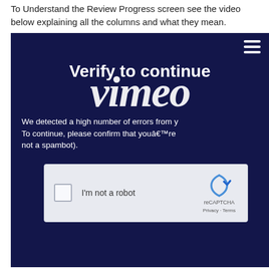To Understand the Review Progress screen see the video below explaining all the columns and what they mean.
[Figure (screenshot): Screenshot of a Vimeo video player showing a 'Verify to continue' CAPTCHA overlay on a dark navy background. The Vimeo logo appears in large italic white text. A reCAPTCHA widget with checkbox labeled 'I'm not a robot' is displayed. A hamburger menu icon is in the top right corner. Text reads: 'We detected a high number of errors from y... To continue, please confirm that youâ€™re not a spambot).']